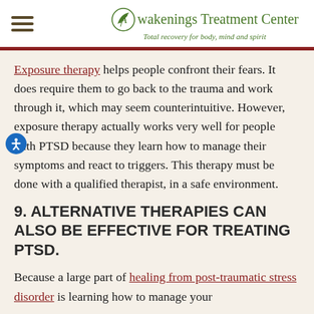Awakenings Treatment Center — Total recovery for body, mind and spirit
Exposure therapy helps people confront their fears. It does require them to go back to the trauma and work through it, which may seem counterintuitive. However, exposure therapy actually works very well for people with PTSD because they learn how to manage their symptoms and react to triggers. This therapy must be done with a qualified therapist, in a safe environment.
9. ALTERNATIVE THERAPIES CAN ALSO BE EFFECTIVE FOR TREATING PTSD.
Because a large part of healing from post-traumatic stress disorder is learning how to manage your